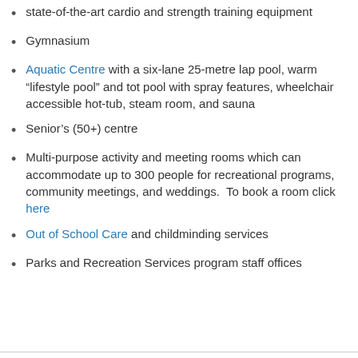state-of-the-art cardio and strength training equipment
Gymnasium
Aquatic Centre with a six-lane 25-metre lap pool, warm “lifestyle pool” and tot pool with spray features, wheelchair accessible hot-tub, steam room, and sauna
Senior’s (50+) centre
Multi-purpose activity and meeting rooms which can accommodate up to 300 people for recreational programs, community meetings, and weddings.  To book a room click here
Out of School Care and childminding services
Parks and Recreation Services program staff offices